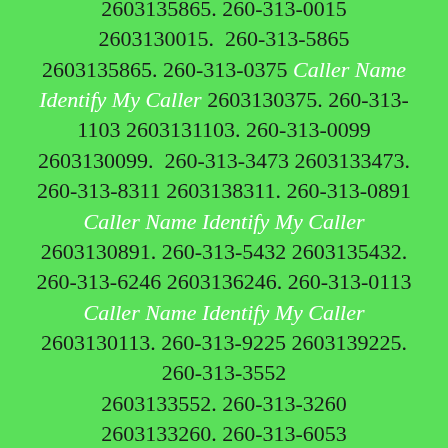2603135865. 260-313-0015 2603130015. 260-313-5865 2603135865. 260-313-0375 Caller Name Identify My Caller 2603130375. 260-313-1103 2603131103. 260-313-0099 2603130099. 260-313-3473 2603133473. 260-313-8311 2603138311. 260-313-0891 Caller Name Identify My Caller 2603130891. 260-313-5432 2603135432. 260-313-6246 2603136246. 260-313-0113 Caller Name Identify My Caller 2603130113. 260-313-9225 2603139225. 260-313-3552 2603133552. 260-313-3260 2603133260. 260-313-6053 2603136053. 260-313-7395 2603137395. 260-313-2421 2603132421. 260-313-6749 2603136749. 260-313-9006 2603139006. 260-313-5629 2603135629. 260-313-3578 2603133578. 260-313-1733 2603131733. 260-313-6738 2603136738. 260-313-2941 2603132941. 260-313-1624 2603131624. 260-313-2018